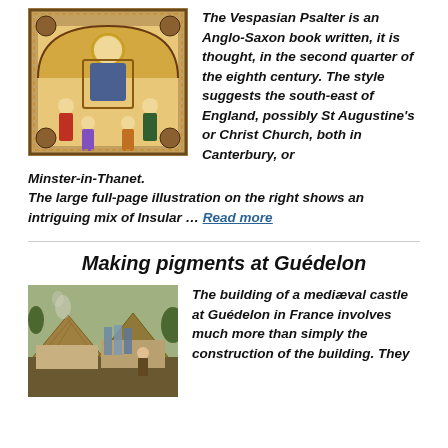[Figure (photo): Illuminated manuscript page showing a saint or Christ figure seated on a throne with surrounding figures, in Anglo-Saxon style with ornate border decoration]
The Vespasian Psalter is an Anglo-Saxon book written, it is thought, in the second quarter of the eighth century. The style suggests the south-east of England, possibly St Augustine's or Christ Church, both in Canterbury, or Minster-in-Thanet.
The large full-page illustration on the right shows an intriguing mix of Insular … Read more
Making pigments at Guédelon
[Figure (photo): Outdoor scene at Guédelon castle construction site in France, showing thatched roof structures and workers]
The building of a mediæval castle at Guédelon in France involves much more than simply the construction of the building. They